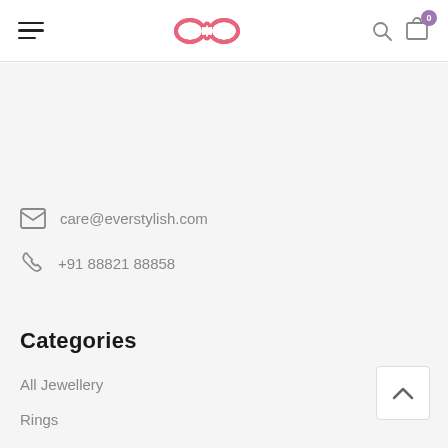Everstylish navigation header with hamburger menu, logo, search and cart icons
care@everstylish.com
+91 88821 88858
Categories
All Jewellery
Rings